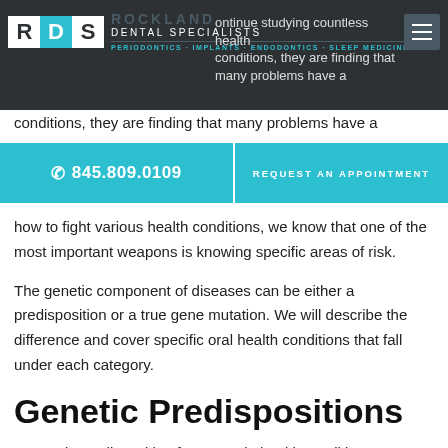RDS ROCKLAND DENTAL SPECIALISTS — PERIODONTICS · IMPLANTS · ENDODONTICS · SLEEP MEDICINE
continue studying countless health conditions, they are finding that many problems have a
☎ 845.809.0109   REQUEST AN APPOINTMENT
how to fight various health conditions, we know that one of the most important weapons is knowing specific areas of risk.
The genetic component of diseases can be either a predisposition or a true gene mutation.  We will describe the difference and cover specific oral health conditions that fall under each category.
Genetic Predispositions
A genetic predisposition for a certain health condition means that scientists have found an increased risk for that condition among family members.  It does not mean that